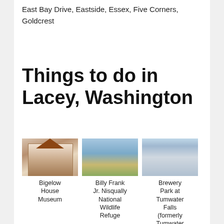East Bay Drive, Eastside, Essex, Five Corners, Goldcrest
Things to do in Lacey, Washington
[Figure (photo): Photo of Bigelow House Museum — a historic Victorian-style house with white facade and ornate porch details]
Bigelow House Museum
[Figure (photo): Photo of Billy Frank Jr. Nisqually National Wildlife Refuge — a calm estuary with wooden pier extending into water under blue sky]
Billy Frank Jr. Nisqually National Wildlife Refuge
[Figure (photo): Photo of Brewery Park at Tumwater Falls (formerly Tumwater Falls Park) — rushing waterfall with misty spray]
Brewery Park at Tumwater Falls (formerly Tumwater Falls Park)